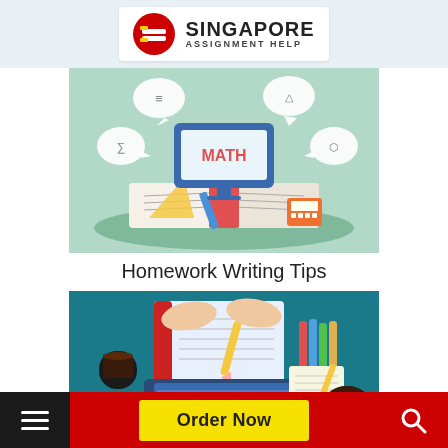[Figure (logo): Singapore Assignment Help logo with red circular icon and text]
[Figure (illustration): Math homework illustration with an open book, pencil, compass, calculator, and a monitor showing MATH surrounded by speech bubbles with math icons]
Homework Writing Tips
[Figure (illustration): Top-down view illustration of a person writing in a notebook with a pencil, coffee cup, colorful pens, a laptop, and a notepad on a teal background]
Order Now